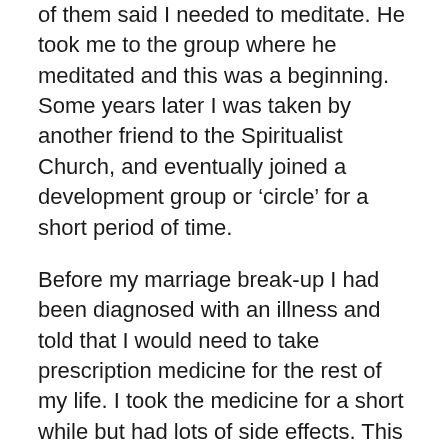of them said I needed to meditate. He took me to the group where he meditated and this was a beginning. Some years later I was taken by another friend to the Spiritualist Church, and eventually joined a development group or 'circle' for a short period of time.
Before my marriage break-up I had been diagnosed with an illness and told that I would need to take prescription medicine for the rest of my life. I took the medicine for a short while but had lots of side effects. This is when I explored natural health, spiritual healing and reiki. Another friend then told me of a meditation group and it was in this group that I started to see, with my third eye, a face appear. For months after that, every time I meditated I saw just a pair of bright wise eyes, then gradually the nose and mouth – it looked like a mask.